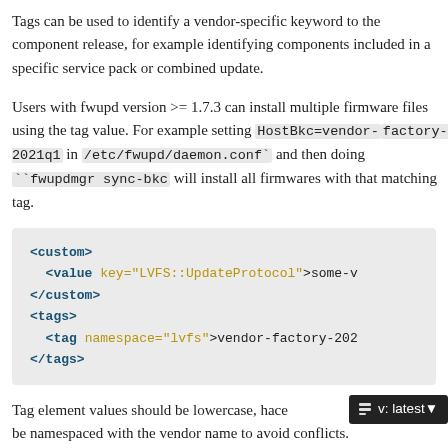Tags can be used to identify a vendor-specific keyword to the component release, for example identifying components included in a specific service pack or combined update.
Users with fwupd version >= 1.7.3 can install multiple firmware files using the tag value. For example setting HostBkc=vendor-factory-2021q1 in /etc/fwupd/daemon.conf` and then doing ``fwupdmgr sync-bkc will install all firmwares with that matching tag.
<custom>
  <value key="LVFS::UpdateProtocol">some-v
</custom>
<tags>
  <tag namespace="lvfs">vendor-factory-202
</tags>
Tag element values should be lowercase, have no spaces and should be namespaced with the vendor name to avoid conflicts.